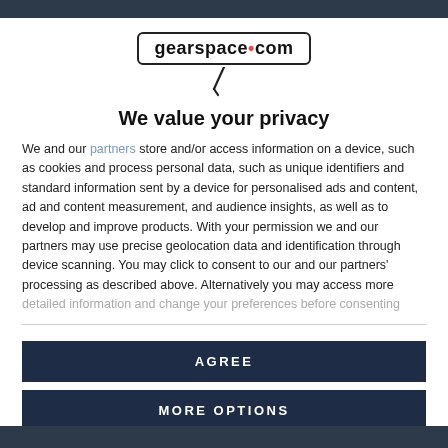[Figure (logo): gearspace.com logo with microphone cable graphic below]
We value your privacy
We and our partners store and/or access information on a device, such as cookies and process personal data, such as unique identifiers and standard information sent by a device for personalised ads and content, ad and content measurement, and audience insights, as well as to develop and improve products. With your permission we and our partners may use precise geolocation data and identification through device scanning. You may click to consent to our and our partners' processing as described above. Alternatively you may access more detailed information and change your preferences before consenting
AGREE
MORE OPTIONS